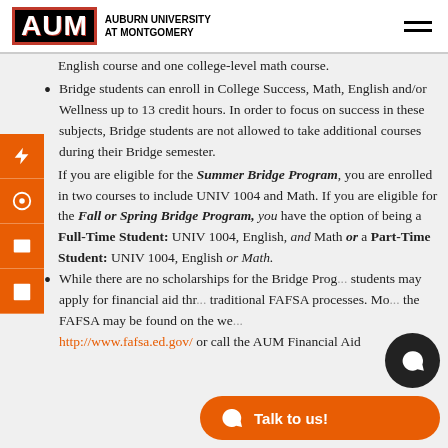AUM Auburn University at Montgomery
English course and one college-level math course.
Bridge students can enroll in College Success, Math, English and/or Wellness up to 13 credit hours. In order to focus on success in these subjects, Bridge students are not allowed to take additional courses during their Bridge semester.
If you are eligible for the Summer Bridge Program, you are enrolled in two courses to include UNIV 1004 and Math. If you are eligible for the Fall or Spring Bridge Program, you have the option of being a Full-Time Student: UNIV 1004, English, and Math or a Part-Time Student: UNIV 1004, English or Math.
While there are no scholarships for the Bridge Program, students may apply for financial aid through the traditional FAFSA processes. More information about the FAFSA may be found on the website http://www.fafsa.ed.gov/ or call the AUM Financial Aid